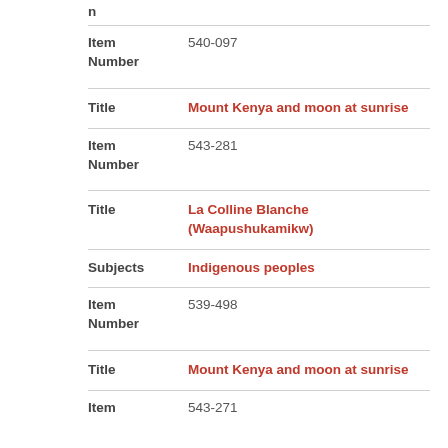n
Item Number	540-097
Title	Mount Kenya and moon at sunrise
Item Number	543-281
Title	La Colline Blanche (Waapushukamikw)
Subjects	Indigenous peoples
Item Number	539-498
Title	Mount Kenya and moon at sunrise
Item	543-271